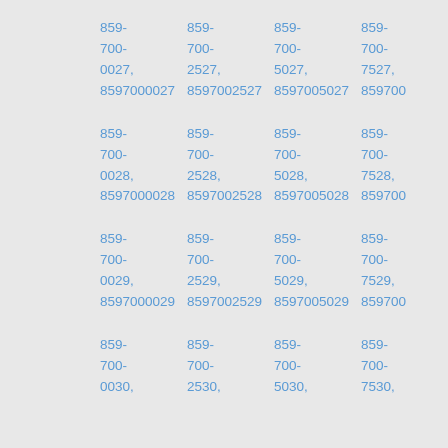859-700-0027, 8597000027  859-700-2527, 8597002527  859-700-5027, 8597005027  859-700-7527, 8597007527
859-700-0028, 8597000028  859-700-2528, 8597002528  859-700-5028, 8597005028  859-700-7528, 8597007528
859-700-0029, 8597000029  859-700-2529, 8597002529  859-700-5029, 8597005029  859-700-7529, 8597007529
859-700-0030, 859-700-2530, 859-700-5030, 859-700-7530